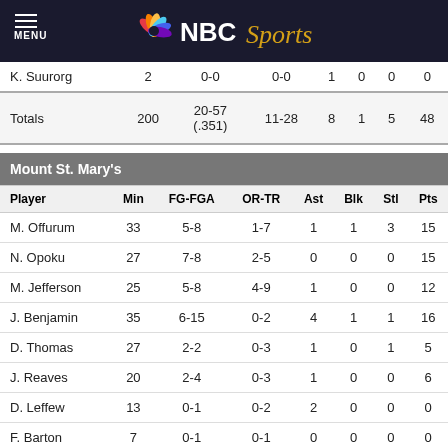NBC Sports
| Player | Min | FG-FGA | OR-TR | Ast | Blk | Stl | Pts |
| --- | --- | --- | --- | --- | --- | --- | --- |
| K. Suurorg | 2 | 0-0 | 0-0 | 1 | 0 | 0 | 0 |
| Totals | 200 | 20-57 (.351) | 11-28 | 8 | 1 | 5 | 48 |
Mount St. Mary's
| Player | Min | FG-FGA | OR-TR | Ast | Blk | Stl | Pts |
| --- | --- | --- | --- | --- | --- | --- | --- |
| M. Offurum | 33 | 5-8 | 1-7 | 1 | 1 | 3 | 15 |
| N. Opoku | 27 | 7-8 | 2-5 | 0 | 0 | 0 | 15 |
| M. Jefferson | 25 | 5-8 | 4-9 | 1 | 0 | 0 | 12 |
| J. Benjamin | 35 | 6-15 | 0-2 | 4 | 1 | 1 | 16 |
| D. Thomas | 27 | 2-2 | 0-3 | 1 | 0 | 1 | 5 |
| J. Reaves | 20 | 2-4 | 0-3 | 1 | 0 | 0 | 6 |
| D. Leffew | 13 | 0-1 | 0-2 | 2 | 0 | 0 | 0 |
| F. Barton | 7 | 0-1 | 0-1 | 0 | 0 | 0 | 0 |